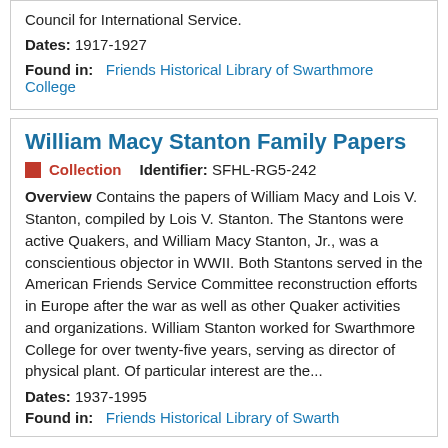Council for International Service.
Dates: 1917-1927
Found in: Friends Historical Library of Swarthmore College
William Macy Stanton Family Papers
Collection   Identifier: SFHL-RG5-242
Overview Contains the papers of William Macy and Lois V. Stanton, compiled by Lois V. Stanton. The Stantons were active Quakers, and William Macy Stanton, Jr., was a conscientious objector in WWII. Both Stantons served in the American Friends Service Committee reconstruction efforts in Europe after the war as well as other Quaker activities and organizations. William Stanton worked for Swarthmore College for over twenty-five years, serving as director of physical plant. Of particular interest are the...
Dates: 1937-1995
Found in: Friends Historical Library of Swarthmore